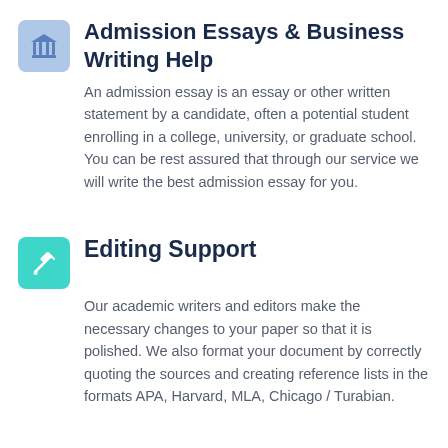[Figure (illustration): Blue square icon with a classical building/column symbol (university/institution)]
Admission Essays & Business Writing Help
An admission essay is an essay or other written statement by a candidate, often a potential student enrolling in a college, university, or graduate school. You can be rest assured that through our service we will write the best admission essay for you.
[Figure (illustration): Teal/green square icon with a pencil/edit symbol]
Editing Support
Our academic writers and editors make the necessary changes to your paper so that it is polished. We also format your document by correctly quoting the sources and creating reference lists in the formats APA, Harvard, MLA, Chicago / Turabian.